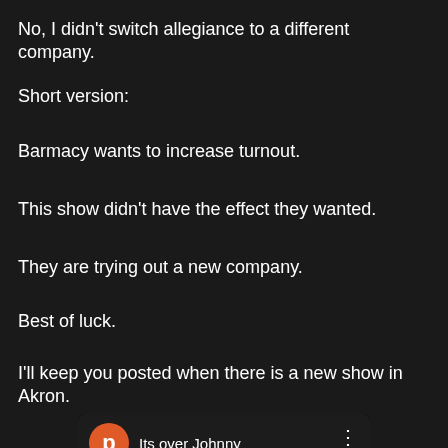No, I didn't switch allegiance to a different company.
Short version:
Barmacy wants to increase turnout.
This show didn't have the effect they wanted.
They are trying out a new company.
Best of luck.
I'll keep you posted when there is a new show in Akron.
[Figure (screenshot): Video thumbnail with orange avatar showing letter 'p', title 'Its over Johnny', three-dot menu icon, and dark video preview with YouTube play button]